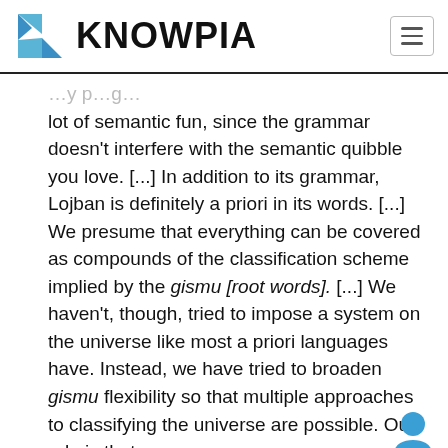KNOWPIA
lot of semantic fun, since the grammar doesn't interfere with the semantic quibble you love. [...] In addition to its grammar, Lojban is definitely a priori in its words. [...] We presume that everything can be covered as compounds of the classification scheme implied by the gismu [root words]. [...] We haven't, though, tried to impose a system on the universe like most a priori languages have. Instead, we have tried to broaden gismu flexibility so that multiple approaches to classifying the universe are possible. Our rule is that